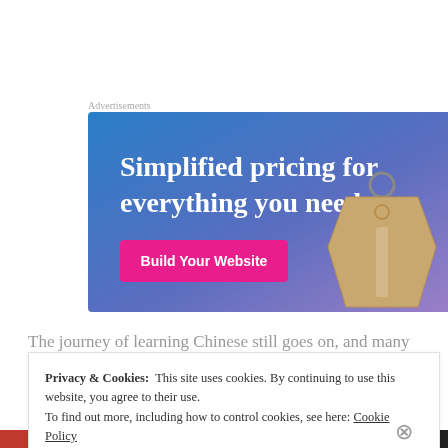Advertisements
[Figure (illustration): Advertisement banner with gradient blue-to-purple background showing a price tag image and text 'Simplified pricing for everything you need.' with a pink 'Build Your Website' button]
The journey of learning Chinese still goes on, and many
Privacy & Cookies: This site uses cookies. By continuing to use this website, you agree to their use.
To find out more, including how to control cookies, see here: Cookie Policy
Close and accept